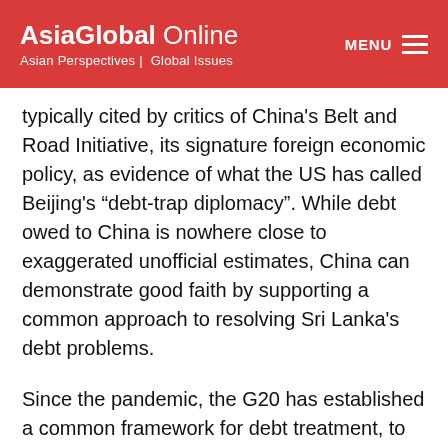AsiaGlobal Online | Asian Perspectives | Global Issues
typically cited by critics of China's Belt and Road Initiative, its signature foreign economic policy, as evidence of what the US has called Beijing's “debt-trap diplomacy”. While debt owed to China is nowhere close to exaggerated unofficial estimates, China can demonstrate good faith by supporting a common approach to resolving Sri Lanka's debt problems.
Since the pandemic, the G20 has established a common framework for debt treatment, to allow heavily indebted countries and their creditors (private and public) to establish a viable path forward. While the framework has primarily focused on African nations and progress has been slow, there is a clear, compelling case for the